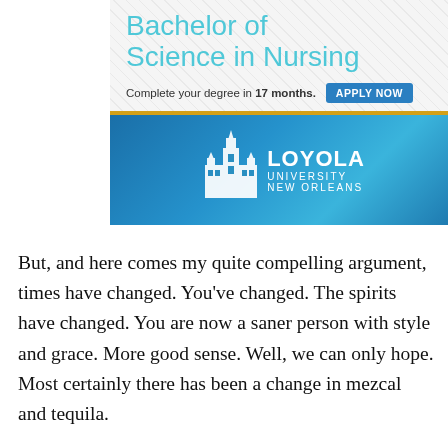[Figure (infographic): Advertisement for Loyola University New Orleans Bachelor of Science in Nursing program. Teal text heading 'Bachelor of Science in Nursing', subtitle 'Complete your degree in 17 months.' with 'APPLY NOW' button. Gold divider bar. Blue banner with Loyola University New Orleans logo and building silhouette.]
But, and here comes my quite compelling argument, times have changed. You've changed. The spirits have changed. You are now a saner person with style and grace. More good sense. Well, we can only hope. Most certainly there has been a change in mezcal and tequila.